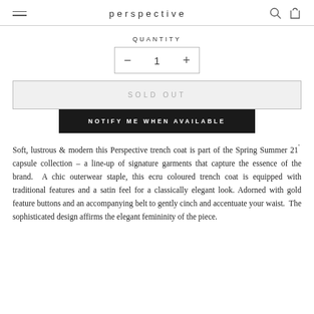perspective
QUANTITY
— 1 +
SOLD OUT
NOTIFY ME WHEN AVAILABLE
Soft, lustrous & modern this Perspective trench coat is part of the Spring Summer 21' capsule collection – a line-up of signature garments that capture the essence of the brand.  A chic outerwear staple, this ecru coloured trench coat is equipped with traditional features and a satin feel for a classically elegant look. Adorned with gold feature buttons and an accompanying belt to gently cinch and accentuate your waist.  The sophisticated design affirms the elegant femininity of the piece.